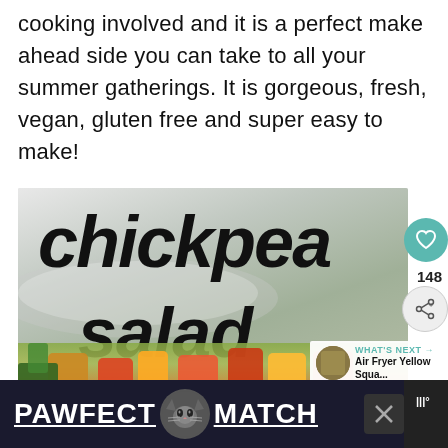cooking involved and it is a perfect make ahead side you can take to all your summer gatherings. It is gorgeous, fresh, vegan, gluten free and super easy to make!
[Figure (photo): Chickpea salad recipe image. Large bold handwritten-style text reading 'chickpea' on top and 'salad' below, overlaid on a blurred photo of a plate with salad ingredients including colorful vegetables. A heart/like button (teal circle), share button, count of 148, and a 'WHAT'S NEXT' panel showing 'Air Fryer Yellow Squa...' are visible on the right side.]
[Figure (photo): Advertisement banner at the bottom reading 'PAWFECT MATCH' with a cat face icon, on a dark navy background. An X close button is visible on the right.]